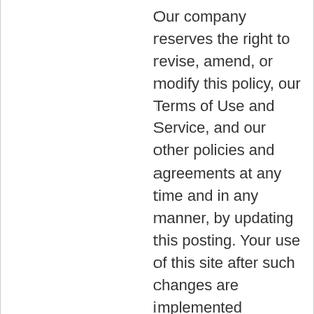Our company reserves the right to revise, amend, or modify this policy, our Terms of Use and Service, and our other policies and agreements at any time and in any manner, by updating this posting. Your use of this site after such changes are implemented constitutes your acknowledgement and acceptance of there changes. Please consult this privacy statement prior to every use for any changes.